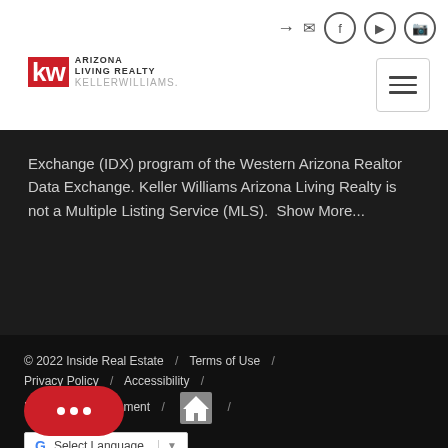[Figure (logo): Keller Williams Arizona Living Realty logo with KW in red square and social media icons]
Exchange (IDX) program of the Western Arizona Realtor Data Exchange. Keller Williams Arizona Living Realty is not a Multiple Listing Service (MLS).  Show More...
© 2022 Inside Real Estate / Terms of Use / Privacy Policy / Accessibility / Fair Housing Statement /
[Figure (other): Google Translate selector widget]
[Figure (other): Red chat button with three dots]